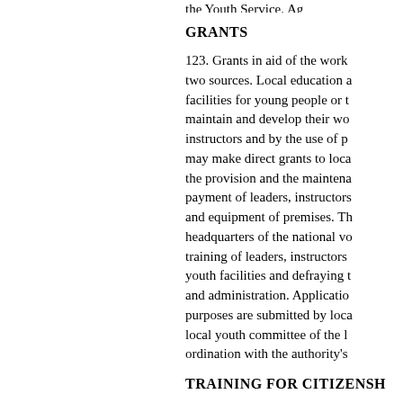the Youth Service. Ag...
GRANTS
123. Grants in aid of the work... two sources. Local education a... facilities for young people or t... maintain and develop their wo... instructors and by the use of p... may make direct grants to loca... the provision and the maintena... payment of leaders, instructors... and equipment of premises. Th... headquarters of the national vo... training of leaders, instructors... youth facilities and defraying t... and administration. Applicatio... purposes are submitted by loca... local youth committee of the l... ordination with the authority's...
TRAINING FOR CITIZENSH...
124. The youth service was in... cover the provision of recreati... training of young people in se...